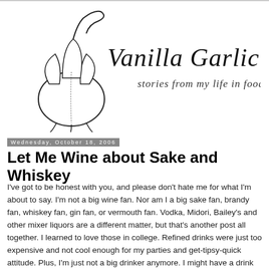[Figure (logo): Vanilla Garlic blog logo — hand-drawn garlic bulb illustration with cursive text reading 'Vanilla Garlic' and below it 'stories from my life in food']
Wednesday, October 18, 2006
Let Me Wine about Sake and Whiskey
I've got to be honest with you, and please don't hate me for what I'm about to say. I'm not a big wine fan. Nor am I a big sake fan, brandy fan, whiskey fan, gin fan, or vermouth fan. Vodka, Midori, Bailey's and other mixer liquors are a different matter, but that's another post all together. I learned to love those in college. Refined drinks were just too expensive and not cool enough for my parties and get-tipsy-quick attitude. Plus, I'm just not a big drinker anymore. I might have a drink once a month, if that. Catch me a year ago and you would see that was a bit different.